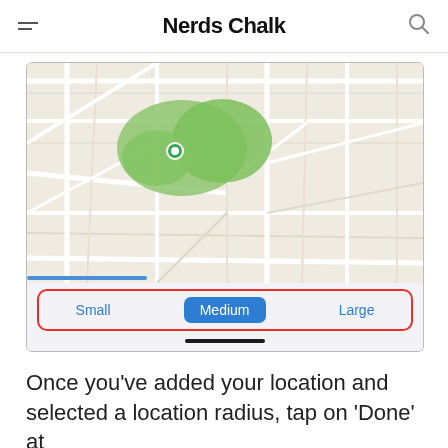Nerds Chalk
[Figure (screenshot): A smartphone screenshot showing an Apple Maps interface with a map view and a bottom panel with size options 'Small', 'Medium' (selected, highlighted in blue), and 'Large', with a red rectangle outline around the bottom panel options.]
Once you've added your location and selected a location radius, tap on 'Done' at